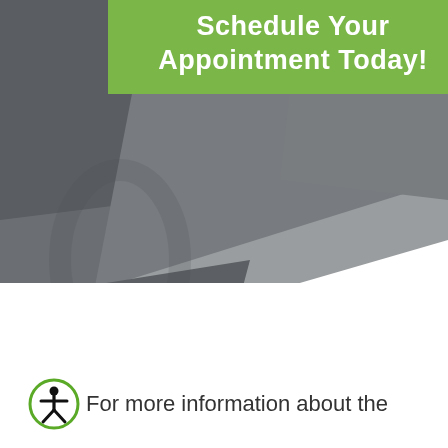Schedule Your Appointment Today!
[Figure (illustration): Dark grey geometric polygonal background with a faint ribbon/awareness symbol watermark in the center-left area. A diagonal lighter grey facet divides the composition.]
For more information about the